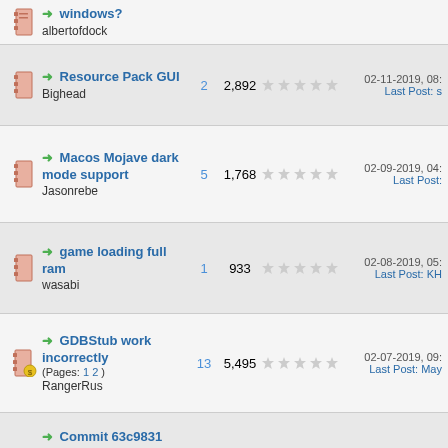windows? albertofdock — replies: ?, views: ?
Resource Pack GUI — Bighead — replies: 2, views: 2,892 — 02-11-2019, 08:... Last Post: s
Macos Mojave dark mode support — Jasonrebe — replies: 5, views: 1,768 — 02-09-2019, 04:... Last Post:
game loading full ram — wasabi — replies: 1, views: 933 — 02-08-2019, 05:... Last Post: KH
GDBStub work incorrectly (Pages: 1 2) — RangerRus — replies: 13, views: 5,495 — 02-07-2019, 09:... Last Post: May
Commit 63c9831 broke game autostarting on Android — freelancer — replies: 3, views: 1,422 — 01-31-2019, 04:... Last Post: free